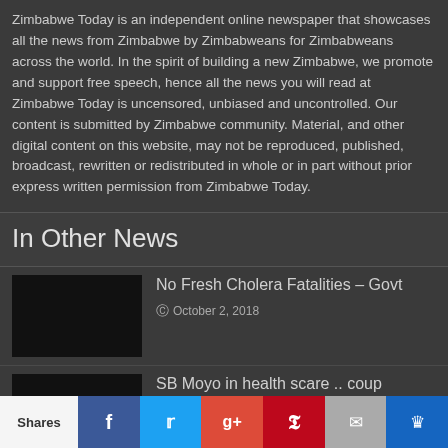Zimbabwe Today is an independent online newspaper that showcases all the news from Zimbabwe by Zimbabweans for Zimbabweans across the world. In the spirit of building a new Zimbabwe, we promote and support free speech, hence all the news you will read at Zimbabwe Today is uncensored, unbiased and uncontrolled. Our content is submitted by Zimbabwe community. Material, and other digital content on this website, may not be reproduced, published, broadcast, rewritten or redistributed in whole or in part without prior express written permission from Zimbabwe Today.
In Other News
[Figure (photo): Thumbnail image (black) for No Fresh Cholera Fatalities article]
No Fresh Cholera Fatalities – Govt
October 2, 2018
[Figure (photo): Thumbnail image (black) for SB Moyo in health scare article]
SB Moyo in health scare .. coup announcer is alive
September 21, 2018
Shares | Facebook | Twitter | Google+ | Pinterest | Email | Crown